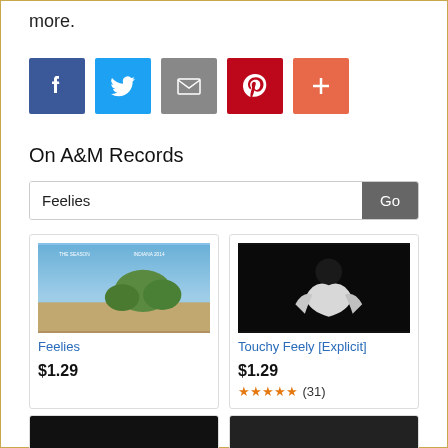more.
[Figure (infographic): Social sharing icons: Facebook (blue), Twitter (light blue), Email (gray), Pinterest (red), More/Plus (orange-red)]
On A&M Records
[Figure (screenshot): Search bar with text 'Feelies' and a Go button]
[Figure (photo): Album art for 'Feelies' - landscape scene with blue sky and trees]
Feelies
$1.29
[Figure (photo): Album art for 'Touchy Feely [Explicit]' - dark photo of a person in white clothing]
Touchy Feely [Explicit]
$1.29
★★★★★ (31)